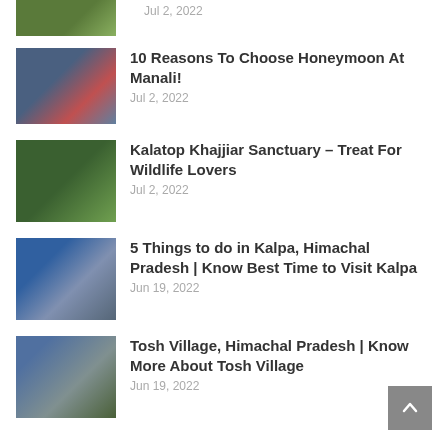Jul 2, 2022
10 Reasons To Choose Honeymoon At Manali! — Jul 2, 2022
Kalatop Khajjiar Sanctuary – Treat For Wildlife Lovers — Jul 2, 2022
5 Things to do in Kalpa, Himachal Pradesh | Know Best Time to Visit Kalpa — Jun 19, 2022
Tosh Village, Himachal Pradesh | Know More About Tosh Village — Jun 19, 2022